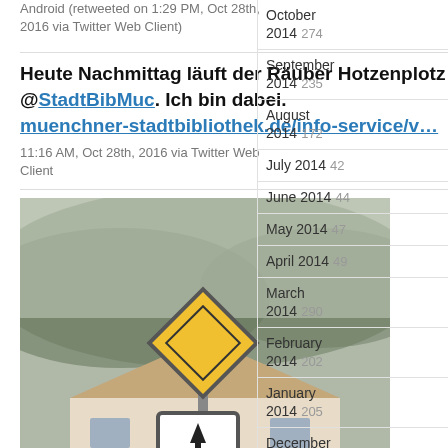Android (retweeted on 1:29 PM, Oct 28th, 2016 via Twitter Web Client)
Heute Nachmittag läuft der Räuber Hotzenplotz im Kinderkino der @StadtBibMuc. Ich bin dabei. muenchner-stadtbibliothek.de/info-service/v…
11:16 AM, Oct 28th, 2016 via Twitter Web Client
[Figure (photo): Photo of German road signs (priority road diamond sign and junction sign) in front of a building with foggy hills in background]
PhilmannLive Wenn du einmal das wütende Gesicht gesehen hast vergisst du es nicht pic.twitter.com/U8EHLxsnBH
October 2014  274
September 2014  235
August 2014  172
July 2014  42
June 2014  44
May 2014  47
April 2014  49
March 2014  290
February 2014  202
January 2014  205
December 2013  181
November 2013  181
October 2013  196